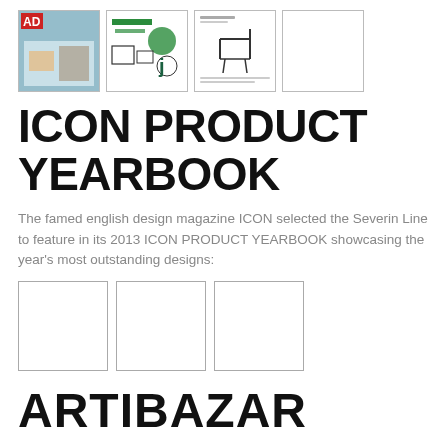[Figure (screenshot): Row of four thumbnail images showing magazine covers and product pages; first has AD magazine cover with interior, second has green design product layout, third has a chair/furniture page, fourth is blank white]
ICON PRODUCT YEARBOOK
The famed english design magazine ICON selected the Severin Line to feature in its 2013 ICON PRODUCT YEARBOOK showcasing the year's most outstanding designs:
[Figure (screenshot): Row of three blank/empty thumbnail image boxes]
ARTIBAZAR